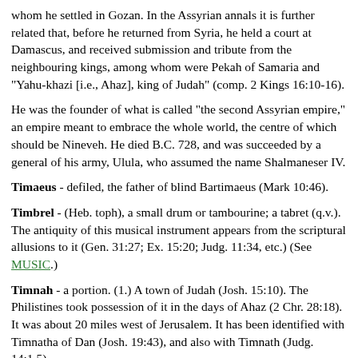whom he settled in Gozan. In the Assyrian annals it is further related that, before he returned from Syria, he held a court at Damascus, and received submission and tribute from the neighbouring kings, among whom were Pekah of Samaria and "Yahu-khazi [i.e., Ahaz], king of Judah" (comp. 2 Kings 16:10-16).
He was the founder of what is called "the second Assyrian empire," an empire meant to embrace the whole world, the centre of which should be Nineveh. He died B.C. 728, and was succeeded by a general of his army, Ulula, who assumed the name Shalmaneser IV.
Timaeus - defiled, the father of blind Bartimaeus (Mark 10:46).
Timbrel - (Heb. toph), a small drum or tambourine; a tabret (q.v.). The antiquity of this musical instrument appears from the scriptural allusions to it (Gen. 31:27; Ex. 15:20; Judg. 11:34, etc.) (See MUSIC.)
Timnah - a portion. (1.) A town of Judah (Josh. 15:10). The Philistines took possession of it in the days of Ahaz (2 Chr. 28:18). It was about 20 miles west of Jerusalem. It has been identified with Timnatha of Dan (Josh. 19:43), and also with Timnath (Judg. 14:1,5).
(2.) A city in the mountains of Judah (Josh.15:57)= Tibna near Jeba'.